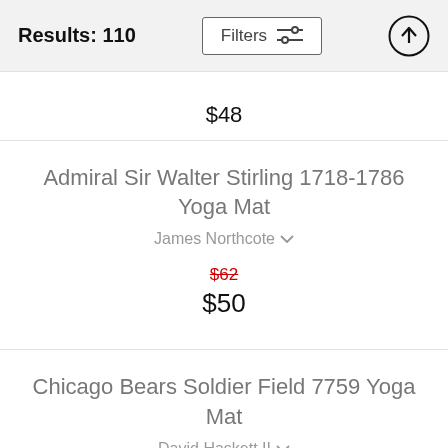Results: 110
$48
Admiral Sir Walter Stirling 1718-1786 Yoga Mat
James Northcote
$62
$50
Chicago Bears Soldier Field 7759 Yoga Mat
David Haskett II
$80
$64